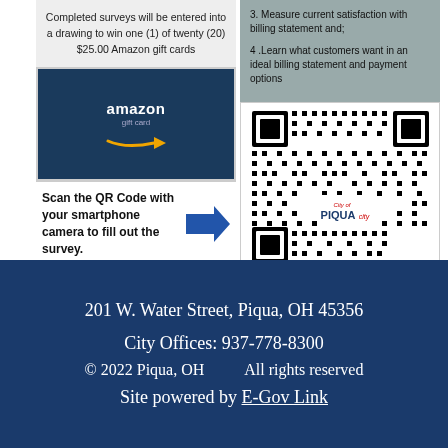Completed surveys will be entered into a drawing to win one (1) of twenty (20) $25.00 Amazon gift cards
[Figure (illustration): Amazon gift card image on dark blue background with golden arrow logo]
3. Measure current satisfaction with billing statement and;
4. Learn what customers want in an ideal billing statement and payment options
[Figure (other): QR code with City of Piqua logo in center linking to tinyurl.com/PiquaVoiceofCustomer]
Scan the QR Code with your smartphone camera to fill out the survey.
tinyurl.com/PiquaVoiceofCustomer
201 W. Water Street, Piqua, OH 45356
City Offices: 937-778-8300
© 2022 Piqua, OH   All rights reserved
Site powered by E-Gov Link